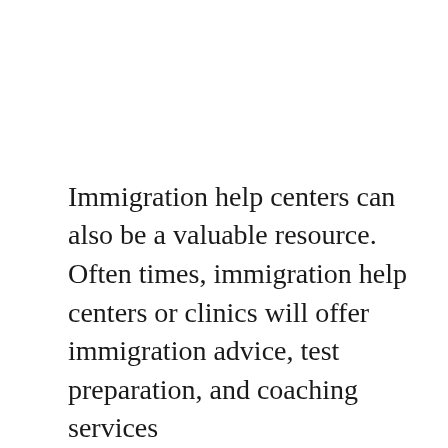Immigration help centers can also be a valuable resource. Often times, immigration help centers or clinics will offer immigration advice, test preparation, and coaching services